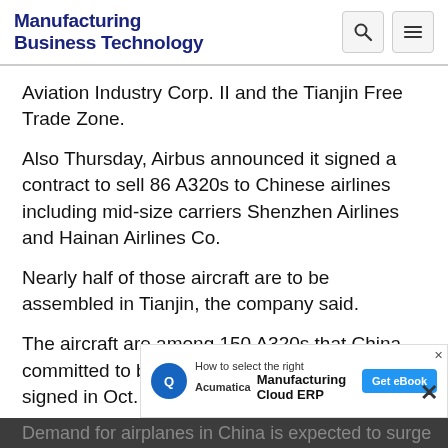Manufacturing Business Technology
Aviation Industry Corp. II and the Tianjin Free Trade Zone.
Also Thursday, Airbus announced it signed a contract to sell 86 A320s to Chinese airlines including mid-size carriers Shenzhen Airlines and Hainan Airlines Co.
Nearly half of those aircraft are to be assembled in Tianjin, the company said.
The aircraft are among 150 A320s that China committed to buying in a preliminary agreement signed in Oct...
[Figure (screenshot): Advertisement banner: Acumatica - How to select the right Manufacturing Cloud ERP. Get eBook button.]
Demand for airplanes in China is expected to surge